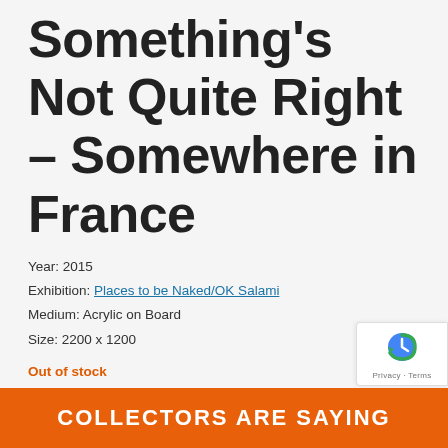Something's Not Quite Right – Somewhere in France
Year: 2015
Exhibition: Places to be Naked/OK Salami
Medium: Acrylic on Board
Size: 2200 x 1200
Out of stock
SKU: PG15BN-040
Categories: Places to be Naked/OK Salami, Works: 2012–2016, Paintings
Tags: Landscape, Nudity, Painting
COLLECTORS ARE SAYING